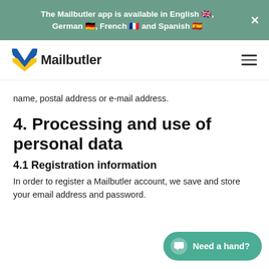The Mailbutler app is available in English 🇬🇧, German 🇩🇪, French 🇫🇷 and Spanish 🇪🇸
[Figure (logo): Mailbutler logo with stylized M in blue and yellow with hamburger menu icon]
name, postal address or e-mail address.
4. Processing and use of personal data
4.1 Registration information
In order to register a Mailbutler account, we save and store your email address and password.